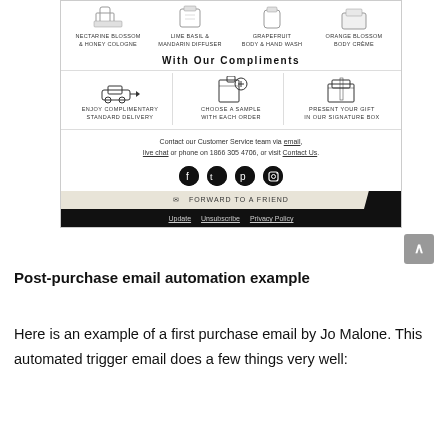[Figure (screenshot): Bottom portion of a Jo Malone post-purchase email showing product images (Nectarine Blossom & Honey Cologne, Lime Basil & Mandarin Diffuser, Grapefruit Body & Hand Wash, Orange Blossom Body Crème), a With Our Compliments section with three icons (Enjoy Complimentary Standard Delivery, Choose a Sample With Each Order, Present Your Gift In Our Signature Box), contact info with email/live chat/phone links, social media icons (Facebook, Twitter, Pinterest, Instagram), a Forward to a Friend bar, and a black footer with Update, Unsubscribe, Privacy Policy links.]
Post-purchase email automation example
Here is an example of a first purchase email by Jo Malone. This automated trigger email does a few things very well: